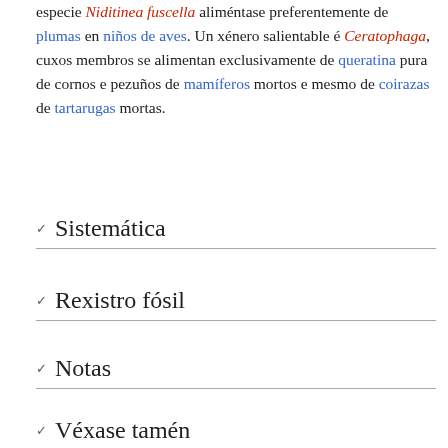especie Niditinea fuscella aliméntase preferentemente de plumas en niños de aves. Un xénero salientable é Ceratophaga, cuxos membros se alimentan exclusivamente de queratina pura de cornos e pezuños de mamíferos mortos e mesmo de coirazas de tartarugas mortas.
Sistemática
Rexistro fósil
Notas
Véxase tamén